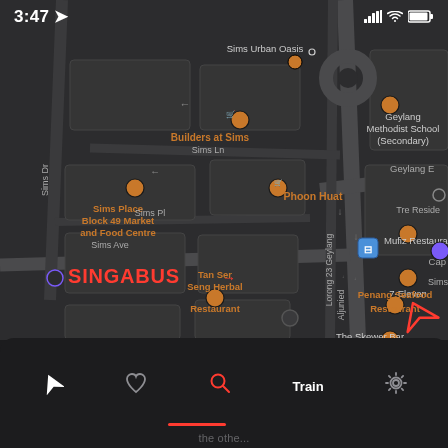[Figure (screenshot): Apple Maps screenshot showing dark mode map of Geylang area in Singapore. Map shows streets including Sims Dr, Sims Ln, Sims Pl, Sims Ave, Aljunied Rd, Lorong 23 Geylang, Geylang E. Landmarks shown include Sims Urban Oasis, Builders at Sims, Sims Place Block 49 Market and Food Centre, Phoon Huat, Geylang Methodist School (Secondary), Mufiz Restaurant, 7-Eleven, Penang Seafood Restaurant, The Skewer Bar, Tan Ser Seng Herbal Restaurant, Tre Reside, Caps. Navigation arrow visible. SINGABUS label in red with arrow. Status bar shows 3:47 time with signal, wifi, and battery icons. Bottom toolbar shows navigation, favorites, search, Train tab (active), and settings icons with red underline under search/Train area.]
3:47 | Train tab active | SINGABUS app